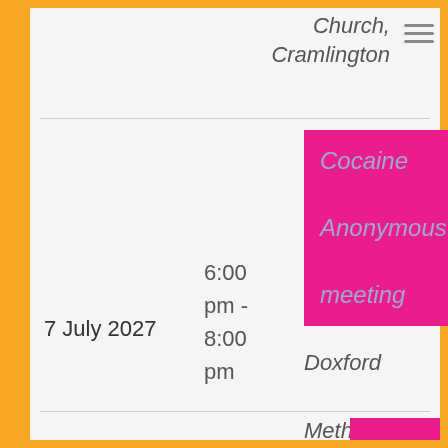Church, Cramlington
7 July 2027
6:00 pm - 8:00 pm
Cocaine Anonymous meeting
Doxford Methodist Church, Cramlington